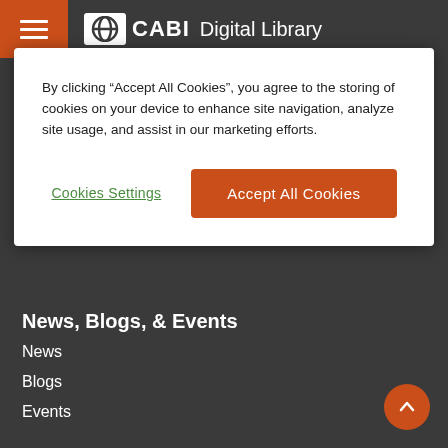CABI Digital Library
By clicking “Accept All Cookies”, you agree to the storing of cookies on your device to enhance site navigation, analyze site usage, and assist in our marketing efforts.
Cookies Settings | Accept All Cookies
News, Blogs, & Events
News
Blogs
Events